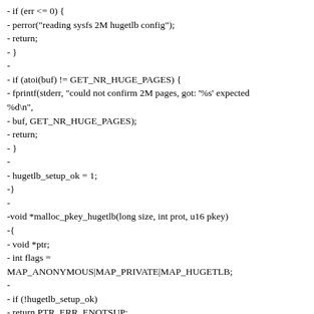- if (err <= 0) {
- perror("reading sysfs 2M hugetlb config");
- return;
- }
-
- if (atoi(buf) != GET_NR_HUGE_PAGES) {
- fprintf(stderr, "could not confirm 2M pages, got: '%s' expected %d\n",
- buf, GET_NR_HUGE_PAGES);
- return;
- }
-
- hugetlb_setup_ok = 1;
-}
-
-void *malloc_pkey_hugetlb(long size, int prot, u16 pkey)
-{
- void *ptr;
- int flags =
MAP_ANONYMOUS|MAP_PRIVATE|MAP_HUGETLB;
-
- if (!hugetlb_setup_ok)
- return PTR_ERR_ENOTSUP;
-
- dprintf1("doing %s(%ld, %x, %x)\n", __func__, size, prot, pkey);